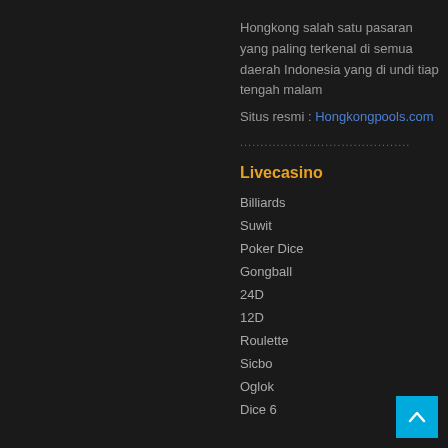Hongkong salah satu pasaran yang paling terkenal di semua daerah Indonesia yang di undi tiap tengah malam
Situs resmi : Hongkongpools.com
..........................................
Livecasino
Billiards
Suwit
Poker Dice
Gongball
24D
12D
Roulette
Sicbo
Oglok
Dice 6